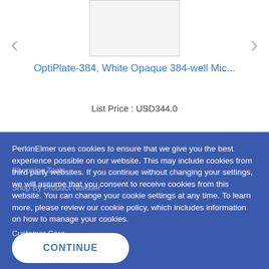[Figure (photo): Product image placeholder box for OptiPlate-384]
OptiPlate-384, White Opaque 384-well Mic...
List Price : USD344.0
PerkinElmer uses cookies to ensure that we give you the best experience possible on our website. This may include cookies from third party websites. If you continue without changing your settings, we will assume that you consent to receive cookies from this website. You can change your cookie settings at any time. To learn more, please review our cookie policy, which includes information on how to manage your cookies.
Shopping Tools
Shop By Product Number
Customer Care
CONTINUE
Order Support